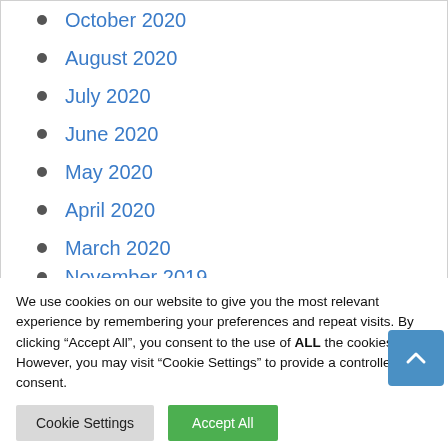October 2020
August 2020
July 2020
June 2020
May 2020
April 2020
March 2020
February 2020
January 2020
December 2019
November 2019
We use cookies on our website to give you the most relevant experience by remembering your preferences and repeat visits. By clicking “Accept All”, you consent to the use of ALL the cookies. However, you may visit “Cookie Settings” to provide a controlled consent.